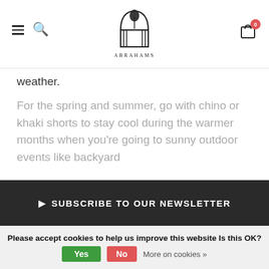Abrahams — navigation header with hamburger menu, search, logo, and cart
weather.
For the spring and summer, go with chino or khaki shorts to stay cool during the warmer months when you're going to sunny outdoor events like backyard
Read more
SUBSCRIBE TO OUR NEWSLETTER
Please accept cookies to help us improve this website Is this OK?
Yes
No
More on cookies »